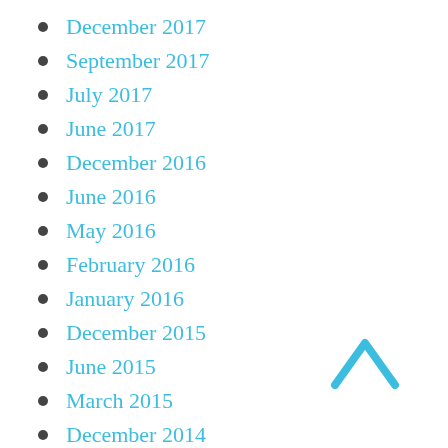December 2017
September 2017
July 2017
June 2017
December 2016
June 2016
May 2016
February 2016
January 2016
December 2015
June 2015
March 2015
December 2014
October 2014